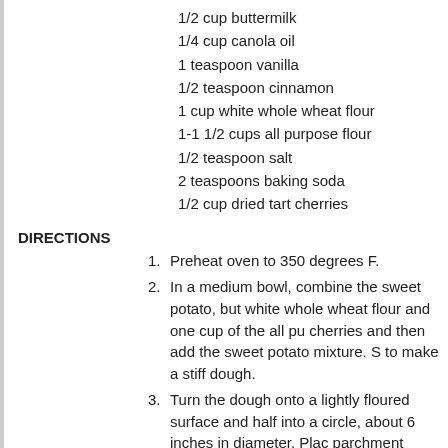1/2 cup buttermilk
1/4 cup canola oil
1 teaspoon vanilla
1/2 teaspoon cinnamon
1 cup white whole wheat flour
1-1 1/2 cups all purpose flour
1/2 teaspoon salt
2 teaspoons baking soda
1/2 cup dried tart cherries
DIRECTIONS
1. Preheat oven to 350 degrees F.
2. In a medium bowl, combine the sweet potato, but white whole wheat flour and one cup of the all pu cherries and then add the sweet potato mixture. S to make a stiff dough.
3. Turn the dough onto a lightly floured surface and half into a circle, about 6 inches in diameter. Plac parchment paper. Cut each circle into 8 wedges a